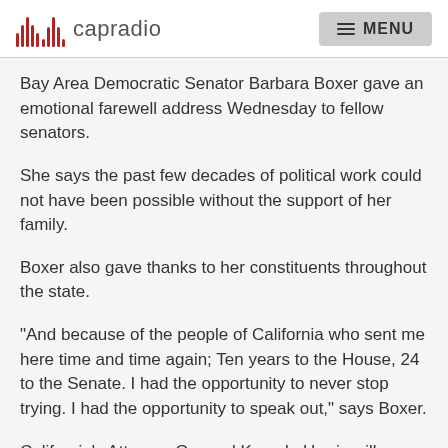capradio  MENU
Bay Area Democratic Senator Barbara Boxer gave an emotional farewell address Wednesday to fellow senators.
She says the past few decades of political work could not have been possible without the support of her family.
Boxer also gave thanks to her constituents throughout the state.
"And because of the people of California who sent me here time and time again; Ten years to the House, 24 to the Senate. I had the opportunity to never stop trying. I had the opportunity to speak out," says Boxer.
California's Attorney General Kamala Harris will